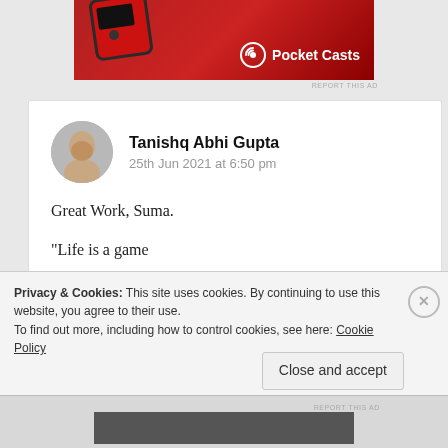[Figure (photo): Pocket Casts app advertisement banner with red background, phone device, and Pocket Casts logo]
REPORT THIS AD
Tanishq Abhi Gupta
25th Jun 2021 at 6:50 pm

Great Work, Suma.

“Life is a game

never fail to practice if you choose to win”.
Privacy & Cookies: This site uses cookies. By continuing to use this website, you agree to their use.
To find out more, including how to control cookies, see here: Cookie Policy
Close and accept